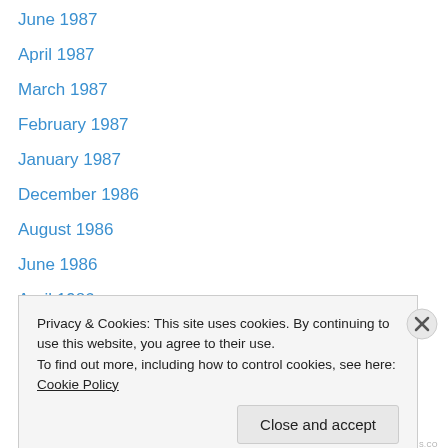June 1987
April 1987
March 1987
February 1987
January 1987
December 1986
August 1986
June 1986
April 1986
February 1986
November 1985
October 1985
September 1985
Privacy & Cookies: This site uses cookies. By continuing to use this website, you agree to their use.
To find out more, including how to control cookies, see here: Cookie Policy